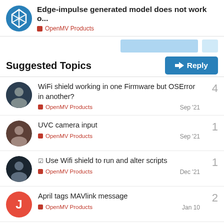Edge-impulse generated model does not work o... | OpenMV Products
Suggested Topics
WiFi shield working in one Firmware but OSError in another? | OpenMV Products | Sep '21 | 4
UVC camera input | OpenMV Products | Sep '21 | 1
✓ Use Wifi shield to run and alter scripts | OpenMV Products | Dec '21 | 1
April tags MAVlink message | OpenMV Products | Jan 10 | 2